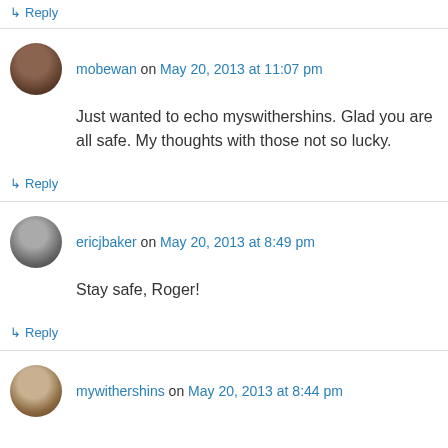↳ Reply
mobewan on May 20, 2013 at 11:07 pm
Just wanted to echo myswithershins. Glad you are all safe. My thoughts with those not so lucky.
↳ Reply
ericjbaker on May 20, 2013 at 8:49 pm
Stay safe, Roger!
↳ Reply
mywithershins on May 20, 2013 at 8:44 pm